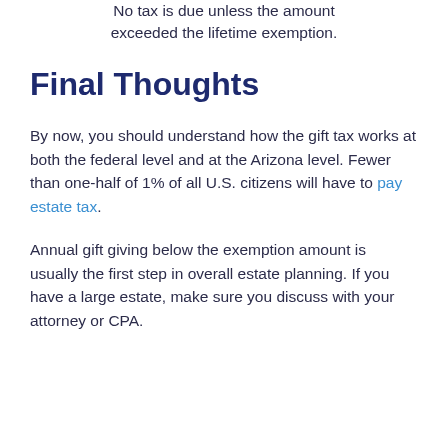No tax is due unless the amount exceeded the lifetime exemption.
Final Thoughts
By now, you should understand how the gift tax works at both the federal level and at the Arizona level. Fewer than one-half of 1% of all U.S. citizens will have to pay estate tax.
Annual gift giving below the exemption amount is usually the first step in overall estate planning. If you have a large estate, make sure you discuss with your attorney or CPA.